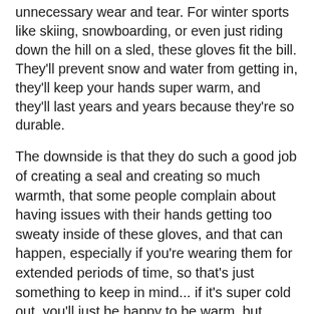The rolled tips on these gloves helps to reduce drag and to avoid unnecessary wear and tear. For winter sports like skiing, snowboarding, or even just riding down the hill on a sled, these gloves fit the bill. They'll prevent snow and water from getting in, they'll keep your hands super warm, and they'll last years and years because they're so durable.
The downside is that they do such a good job of creating a seal and creating so much warmth, that some people complain about having issues with their hands getting too sweaty inside of these gloves, and that can happen, especially if you're wearing them for extended periods of time, so that's just something to keep in mind... if it's super cold out, you'll just be happy to be warm, but these gloves aren't ideal in less chilly temperatures or if you're going to be exerting yourself for hours. But let's face it, if you're doing